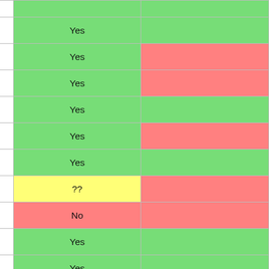| Exchange | Column2 | Column3 |
| --- | --- | --- |
| Coinsbank.com | Yes |  |
| Coinygram | Yes |  |
| Flyp.me | Yes |  |
| FTX US Derivatives | Yes |  |
| GDax | Yes |  |
| Gemini | Yes |  |
| Genesis | ?? |  |
| Globitex | No |  |
| HitBTC | Yes |  |
| Hodl Hodl | Yes |  |
| Independent Reserve | Yes |  |
| Itbit | ?? |  |
| Kraken | Yes |  |
| Liberalcoins | Yes |  |
| LocalBitcoins | Yes |  |